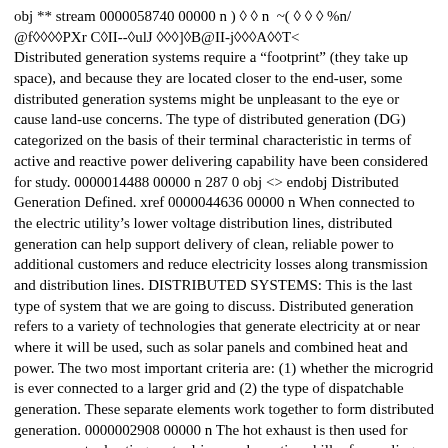obj ** stream 0000058740 00000 n ) � � n  ~( � � � %n/ @f����PXr C�II--�ulJ ���]�B@II-j���A��T< Distributed generation systems require a “footprint” (they take up space), and because they are located closer to the end-user, some distributed generation systems might be unpleasant to the eye or cause land-use concerns. The type of distributed generation (DG) categorized on the basis of their terminal characteristic in terms of active and reactive power delivering capability have been considered for study. 0000014488 00000 n 287 0 obj <> endobj Distributed Generation Defined. xref 0000044636 00000 n When connected to the electric utility’s lower voltage distribution lines, distributed generation can help support delivery of clean, reliable power to additional customers and reduce electricity losses along transmission and distribution lines. DISTRIBUTED SYSTEMS: This is the last type of system that we are going to discuss. Distributed generation refers to a variety of technologies that generate electricity at or near where it will be used, such as solar panels and combined heat and power. The two most important criteria are: (1) whether the microgrid is ever connected to a larger grid and (2) the type of dispatchable generation. These separate elements work together to form distributed generation. 0000002908 00000 n The hot exhaust is then used for space or water heating, or to drive an absorptive chiller for cooling such as air-conditioning. %%EOF Existing cost-effective distributed generation technologies can be used to generate electricity at homes and businesses using renewable energy resources such as